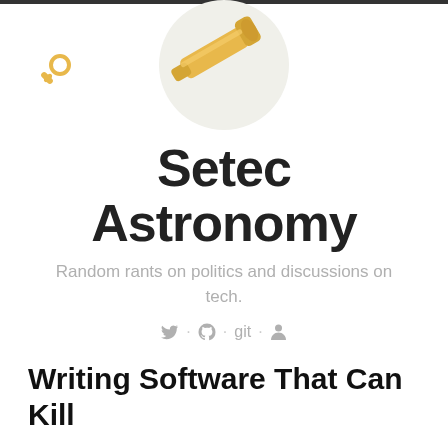[Figure (illustration): Telescope icon inside a light gray circle, with a small magnifying glass icon to the left]
Setec Astronomy
Random rants on politics and discussions on tech.
🐦 · GitHub · git · 👤
Writing Software That Can Kill